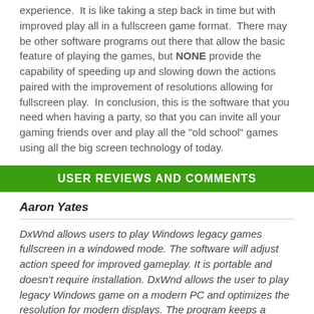experience.  It is like taking a step back in time but with improved play all in a fullscreen game format.  There may be other software programs out there that allow the basic feature of playing the games, but NONE provide the capability of speeding up and slowing down the actions paired with the improvement of resolutions allowing for fullscreen play.  In conclusion, this is the software that you need when having a party, so that you can invite all your gaming friends over and play all the "old school" games using all the big screen technology of today.
USER REVIEWS AND COMMENTS
Aaron Yates
DxWnd allows users to play Windows legacy games fullscreen in a windowed mode. The software will adjust action speed for improved gameplay. It is portable and doesn't require installation. DxWnd allows the user to play legacy Windows game on a modern PC and optimizes the resolution for modern displays. The program keeps a record of visual status, palette, and a record of operations, and gives information regarding program status.